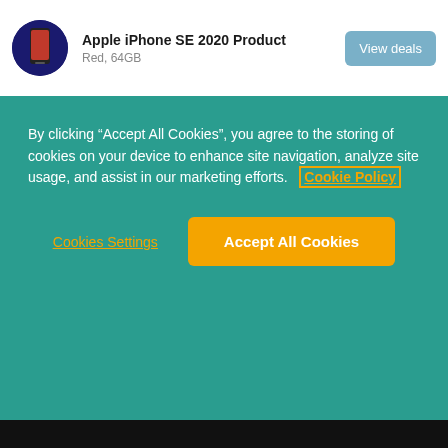Apple iPhone SE 2020 Product
Red, 64GB
By clicking “Accept All Cookies”, you agree to the storing of cookies on your device to enhance site navigation, analyze site usage, and assist in our marketing efforts.   Cookie Policy
Cookies Settings
Accept All Cookies